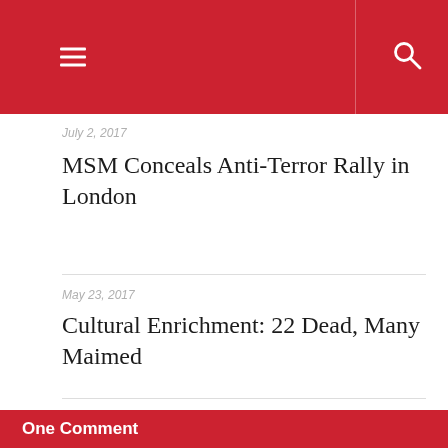≡  🔍
July 2, 2017
MSM Conceals Anti-Terror Rally in London
May 23, 2017
Cultural Enrichment: 22 Dead, Many Maimed
George Wellor
One Comment